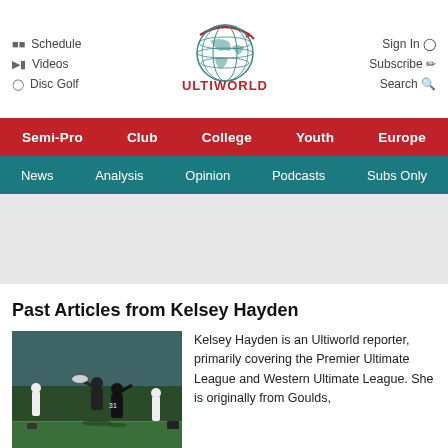Ultiworld – Schedule, Videos, Disc Golf, Sign In, Subscribe, Search
Semi-Pro | Club | College | Youth | Europe
News | Analysis | Opinion | Podcasts | Subs Only
[Figure (photo): Advertisement / gray placeholder area]
Past Articles from Kelsey Hayden
[Figure (photo): Photo of ultimate frisbee players on an indoor field, one player leaping to catch a disc]
Kelsey Hayden is an Ultiworld reporter, primarily covering the Premier Ultimate League and Western Ultimate League. She is originally from Goulds, Nf...